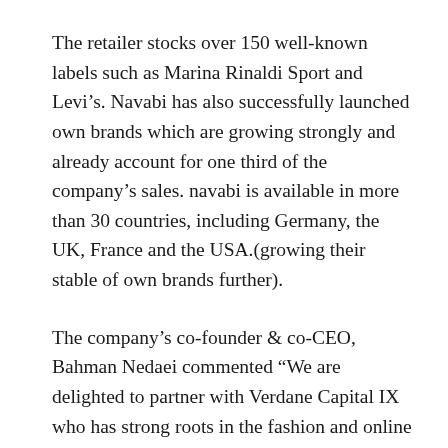The retailer stocks over 150 well-known labels such as Marina Rinaldi Sport and Levi's. Navabi has also successfully launched own brands which are growing strongly and already account for one third of the company's sales. navabi is available in more than 30 countries, including Germany, the UK, France and the USA.(growing their stable of own brands further).
The company's co-founder & co-CEO, Bahman Nedaei commented “We are delighted to partner with Verdane Capital IX who has strong roots in the fashion and online retail industry and who shares our vision of sustainable and profitable growth.” Co-founder Zahir Dehnadi added: “We think all women,